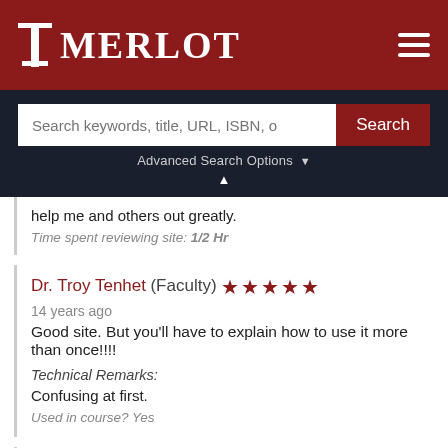MERLOT
Search keywords, title, URL, ISBN, o
Advanced Search Options
help me and others out greatly.
Time spent reviewing site: 1/2 Hr
Dr. Troy Tenhet (Faculty) ★★★★★
14 years ago
Good site. But you'll have to explain how to use it more than once!!!!
Technical Remarks:
Confusing at first.
Used in course? Yes
Joel Vaughan (Student)